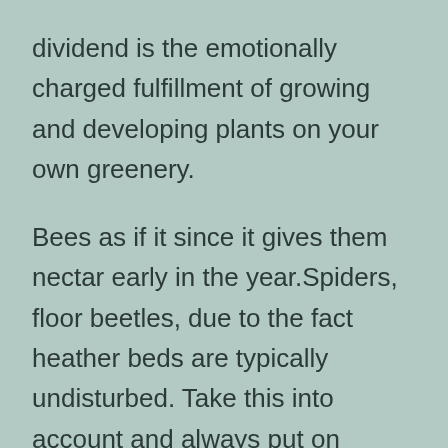dividend is the emotionally charged fulfillment of growing and developing plants on your own greenery.
Bees as if it since it gives them nectar early in the year.Spiders, floor beetles, due to the fact heather beds are typically undisturbed. Take this into account and always put on gloves when you prune your heather!
Preparing the earth to your traditional garden can be done rapidly and without the need of difficulty. Make use of spade to cut pieces of turf up, transform the turf more than, and